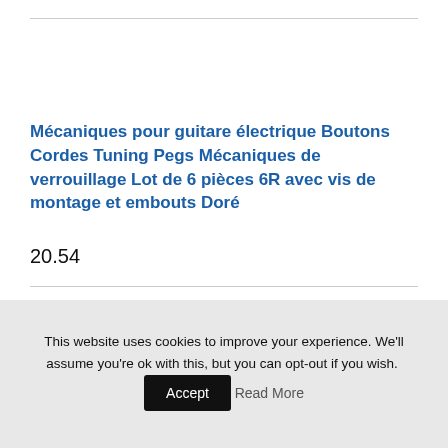Mécaniques pour guitare électrique Boutons Cordes Tuning Pegs Mécaniques de verrouillage Lot de 6 pièces 6R avec vis de montage et embouts Doré
20.54
This website uses cookies to improve your experience. We'll assume you're ok with this, but you can opt-out if you wish. Accept Read More